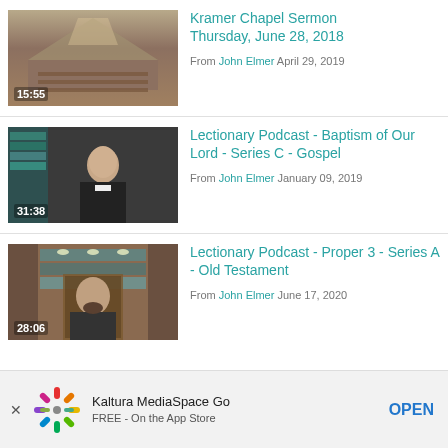[Figure (screenshot): Video thumbnail of chapel interior with wooden ceiling and pews, duration 15:55]
Kramer Chapel Sermon Thursday, June 28, 2018
From John Elmer April 29, 2019
[Figure (screenshot): Video thumbnail of elderly man in clergy collar at desk, duration 31:38]
Lectionary Podcast - Baptism of Our Lord - Series C - Gospel
From John Elmer January 09, 2019
[Figure (screenshot): Video thumbnail of man with beard in front of bookshelf, duration 28:06]
Lectionary Podcast - Proper 3 - Series A - Old Testament
From John Elmer June 17, 2020
Kaltura MediaSpace Go FREE - On the App Store OPEN